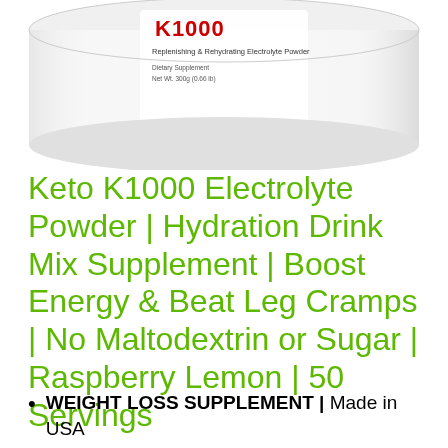[Figure (photo): White cylindrical container/tub of Keto K1000 Electrolyte Powder, showing partial label with text 'Replenishing & Rehydrating Electrolyte Powder', 'Dietary Supplement', 'Net Wt. 300g (0.66 lb)']
Keto K1000 Electrolyte Powder | Hydration Drink Mix Supplement | Boost Energy & Beat Leg Cramps | No Maltodextrin or Sugar | Raspberry Lemon | 50 Servings
WEIGHT LOSS SUPPLEMENT | Made in USA